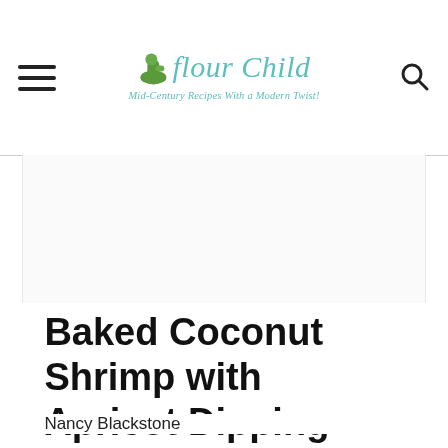Flour Child — Mid-Century Recipes With a Modern Twist!
[Figure (photo): Large food photograph placeholder area (white/blank) showing baked coconut shrimp with apricot dipping sauce]
Baked Coconut Shrimp with Apricot Dipping Sauce
Nancy Blackstone